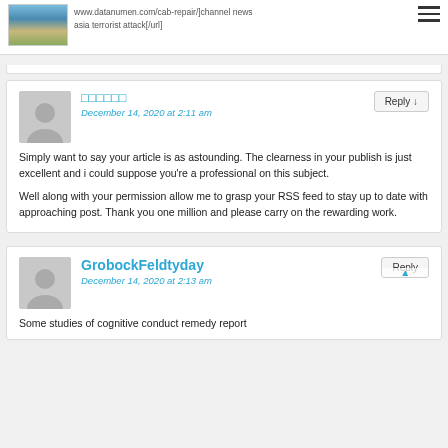www.datanumen.com/cab-repair/]channel news asia terrorist attack[/url]
□□□□□□
December 14, 2020 at 2:11 am
Simply want to say your article is as astounding. The clearness in your publish is just excellent and i could suppose you're a professional on this subject.

Well along with your permission allow me to grasp your RSS feed to stay up to date with approaching post. Thank you one million and please carry on the rewarding work.
GrobockFeldtyday
December 14, 2020 at 2:13 am
Some studies of cognitive conduct remedy report